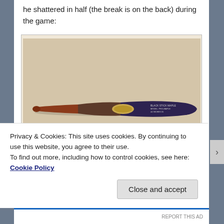he shattered in half (the break is on the back) during the game:
[Figure (photo): A baseball bat laid horizontally against a beige/tan background. The bat is dark navy/purple on the barrel end (right) and reddish-brown on the handle end (left), with a gold logo near the center.]
Privacy & Cookies: This site uses cookies. By continuing to use this website, you agree to their use.
To find out more, including how to control cookies, see here: Cookie Policy
Close and accept